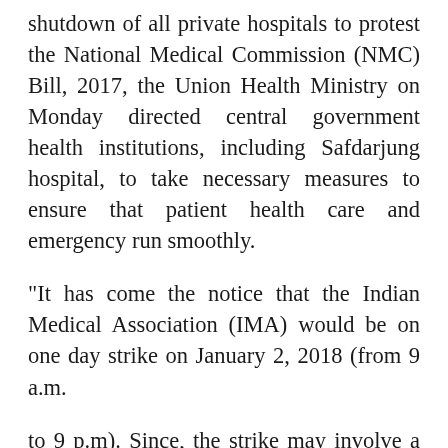shutdown of all private hospitals to protest the National Medical Commission (NMC) Bill, 2017, the Union Health Ministry on Monday directed central government health institutions, including Safdarjung hospital, to take necessary measures to ensure that patient health care and emergency run smoothly.
"It has come the notice that the Indian Medical Association (IMA) would be on one day strike on January 2, 2018 (from 9 a.m.
to 9 p.m). Since, the strike may involve a large number of medical professionals, it is anticipated that there would be inconvenience to the patient care services